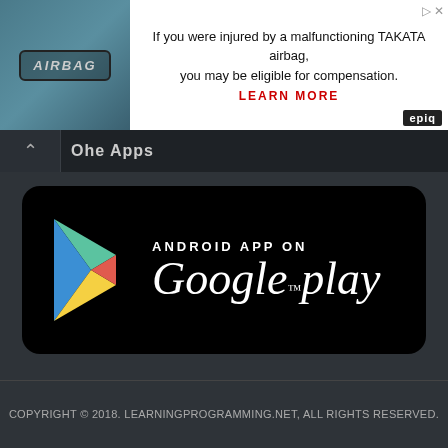[Figure (screenshot): Advertisement banner showing airbag image on left and text about TAKATA airbag injury compensation on right with LEARN MORE link and epiq logo]
If you were injured by a malfunctioning TAKATA airbag, you may be eligible for compensation.
LEARN MORE
Ohe Apps
[Figure (logo): Android App on Google Play store badge with Google Play triangular logo and text]
COPYRIGHT © 2018. LEARNINGPROGRAMMING.NET, ALL RIGHTS RESERVED.